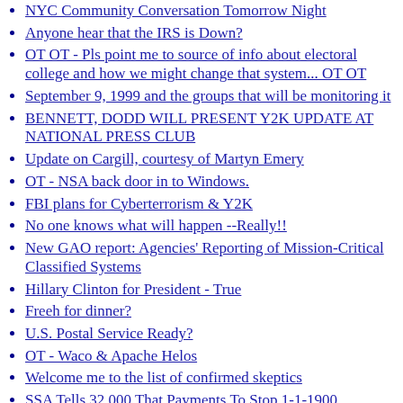NYC Community Conversation Tomorrow Night
Anyone hear that the IRS is Down?
OT OT - Pls point me to source of info about electoral college and how we might change that system... OT OT
September 9, 1999 and the groups that will be monitoring it
BENNETT, DODD WILL PRESENT Y2K UPDATE AT NATIONAL PRESS CLUB
Update on Cargill, courtesy of Martyn Emery
OT - NSA back door in to Windows.
FBI plans for Cyberterrorism & Y2K
No one knows what will happen --Really!!
New GAO report: Agencies' Reporting of Mission-Critical Classified Systems
Hillary Clinton for President - True
Freeh for dinner?
U.S. Postal Service Ready?
OT - Waco & Apache Helos
Welcome me to the list of confirmed skeptics
SSA Tells 32,000 That Payments To Stop 1-1-1900
Good news and Bad news.
Computer glitch delays financial aid payments
Computer Crash Still Jams UVSC
More (but not much) on Clinton/Koskinen's ICC (Y2K clearinghouse).
OTOTOT--- China's New World Odor(sic) ---OTOTOT
The Democrat's Book: What is the significance of the...